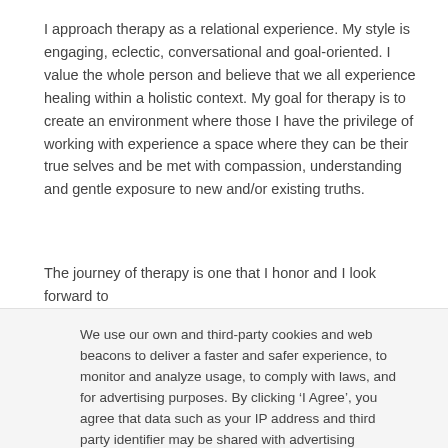I approach therapy as a relational experience. My style is engaging, eclectic, conversational and goal-oriented. I value the whole person and believe that we all experience healing within a holistic context. My goal for therapy is to create an environment where those I have the privilege of working with experience a space where they can be their true selves and be met with compassion, understanding and gentle exposure to new and/or existing truths.
The journey of therapy is one that I honor and I look forward to
We use our own and third-party cookies and web beacons to deliver a faster and safer experience, to monitor and analyze usage, to comply with laws, and for advertising purposes. By clicking ‘I Agree’, you agree that data such as your IP address and third party identifier may be shared with advertising partners to help us deliver more relevant ads. To update your settings or opt out, go to ‘Cookie Settings’. To learn more read our Privacy Policy.